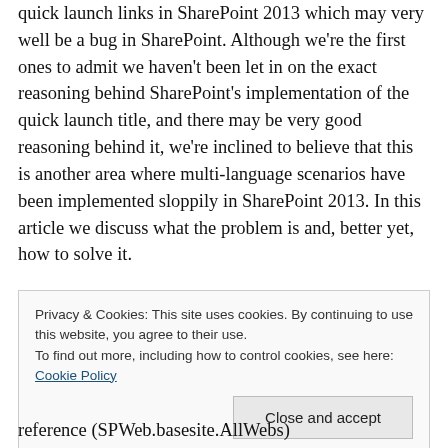quick launch links in SharePoint 2013 which may very well be a bug in SharePoint. Although we're the first ones to admit we haven't been let in on the exact reasoning behind SharePoint's implementation of the quick launch title, and there may be very good reasoning behind it, we're inclined to believe that this is another area where multi-language scenarios have been implemented sloppily in SharePoint 2013. In this article we discuss what the problem is and, better yet, how to solve it.

In principle, retrieving the link title of a quick link is easy.

The next C# code uses the server-side OM to retrieve the
Privacy & Cookies: This site uses cookies. By continuing to use this website, you agree to their use.
To find out more, including how to control cookies, see here: Cookie Policy
[Close and accept]
reference (SPWeb.basesite.AllWebs)